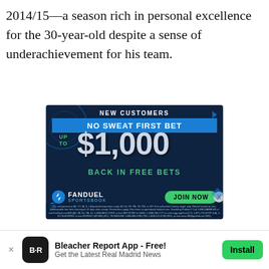2014/15—a season rich in personal excellence for the 30-year-old despite a sense of underachievement for his team.
[Figure (photo): FanDuel Sportsbook advertisement: New Customers No Sweat First Bet Up To $1,000 Back In Free Bets, with Join Now button]
Bleacher Report App - Free! Get the Latest Real Madrid News